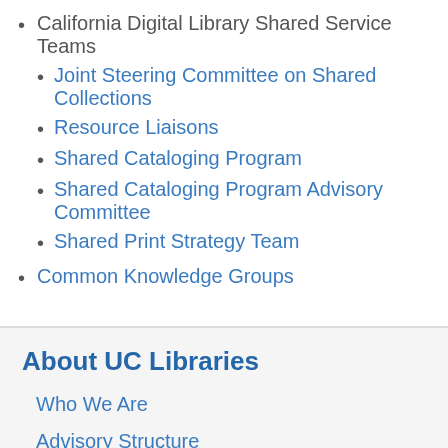California Digital Library Shared Service Teams
Joint Steering Committee on Shared Collections
Resource Liaisons
Shared Cataloging Program
Shared Cataloging Program Advisory Committee
Shared Print Strategy Team
Common Knowledge Groups
About UC Libraries
Who We Are
Advisory Structure